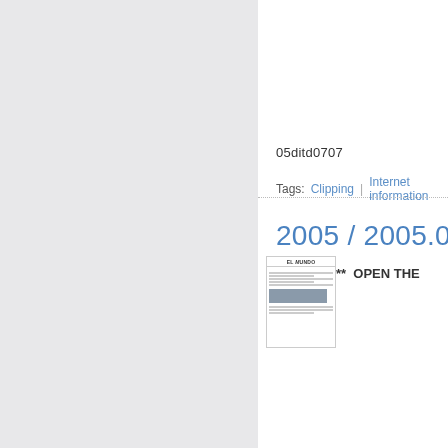05ditd0707
Tags:  Clipping  |  Internet information
2005 / 2005.02.02
**  OPEN THE
[Figure (other): Thumbnail of a newspaper page from El Mundo]